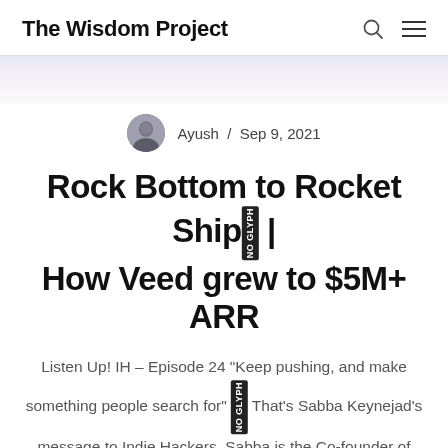The Wisdom Project
[Figure (photo): Circular avatar photo of author Ayush]
Ayush / Sep 9, 2021
Rock Bottom to Rocket Ship 🚀 | How Veed grew to $5M+ ARR
Listen Up! IH – Episode 24 "Keep pushing, and make something people search for" 🎧 That's Sabba Keynejad's message to Indie Hackers. Sabba is the Co-founder of Veed.io – a browser-based video editing tool. Sabba and his co-founder Tim grew the company from 0 to 50,000 users in just 6 months. And with no marketing budget. Their growth …